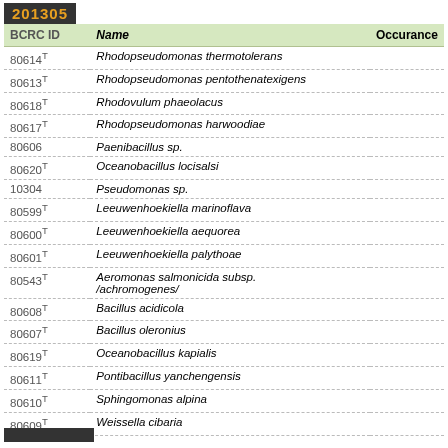201305
| BCRC ID | Name | Occurance |
| --- | --- | --- |
| 80614T | Rhodopseudomonas thermotolerans |  |
| 80613T | Rhodopseudomonas pentothenatexigens |  |
| 80618T | Rhodovulum phaeolacus |  |
| 80617T | Rhodopseudomonas harwoodiae |  |
| 80606 | Paenibacillus sp. |  |
| 80620T | Oceanobacillus locisalsi |  |
| 10304 | Pseudomonas sp. |  |
| 80599T | Leeuwenhoekiella marinoflava |  |
| 80600T | Leeuwenhoekiella aequorea |  |
| 80601T | Leeuwenhoekiella palythoae |  |
| 80543T | Aeromonas salmonicida subsp. /achromogenes/ |  |
| 80608T | Bacillus acidicola |  |
| 80607T | Bacillus oleronius |  |
| 80619T | Oceanobacillus kapialis |  |
| 80611T | Pontibacillus yanchengensis |  |
| 80610T | Sphingomonas alpina |  |
| 80609T | Weissella cibaria |  |